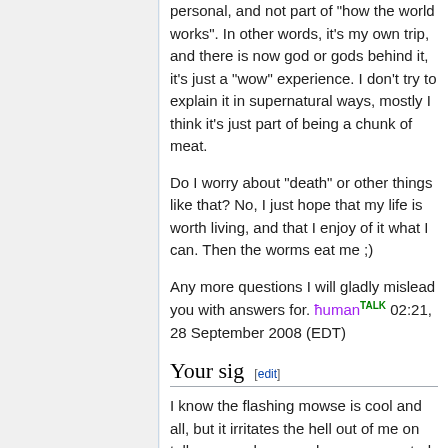personal, and not part of "how the world works". In other words, it's my own trip, and there is now god or gods behind it, it's just a "wow" experience. I don't try to explain it in supernatural ways, mostly I think it's just part of being a chunk of meat.
Do I worry about "death" or other things like that? No, I just hope that my life is worth living, and that I enjoy of it what I can. Then the worms eat me ;)
Any more questions I will gladly mislead you with answers for. ħuman TALK 02:21, 28 September 2008 (EDT)
Your sig [edit]
I know the flashing mowse is cool and all, but it irritates the hell out of me on talk pages where you have commented